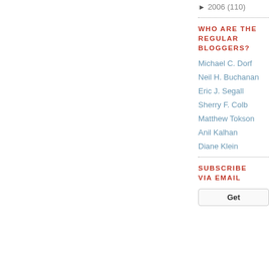► 2006 (110)
WHO ARE THE REGULAR BLOGGERS?
Michael C. Dorf
Neil H. Buchanan
Eric J. Segall
Sherry F. Colb
Matthew Tokson
Anil Kalhan
Diane Klein
SUBSCRIBE VIA EMAIL
Get